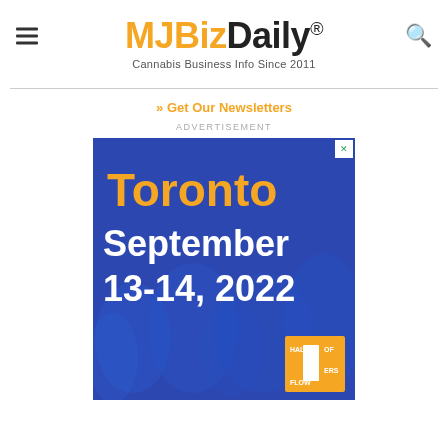MJBizDaily® Cannabis Business Info Since 2011
» Get Our Newsletters
ADVERTISEMENT
[Figure (illustration): Advertisement banner for Hall of Flowers Toronto event, September 13-14, 2022. Blue background with crowd silhouettes, orange 'Toronto' text, white 'September 13-14, 2022' text, and Hall of Flowers logo in bottom right corner.]